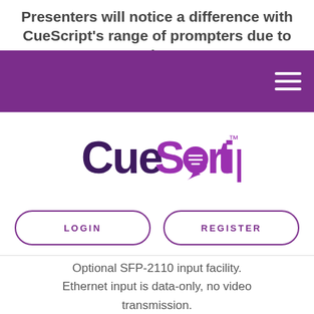Presenters will notice a difference with CueScript's range of prompters due to the
[Figure (logo): CueScript logo — stylized text 'CueScript' in purple with a speech bubble icon containing lines, and a TM superscript]
LOGIN
REGISTER
Optional SFP-2110 input facility. Ethernet input is data-only, no video transmission. Connects over VLANs, subnets and VPNs for remote capabilities.